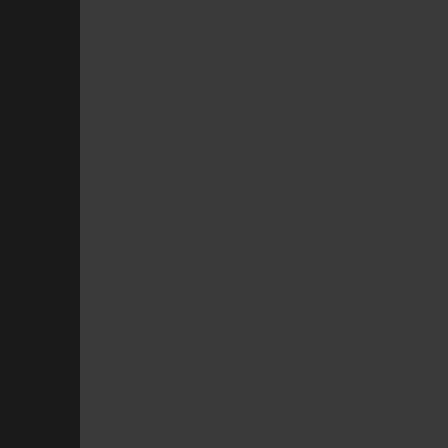applied these pseudony the court granted them a
But Merryday did not me from the mandate. Rathe sweeping restraining or from taking any "adverse because of their unvacci barred the Navy from re reason whatsoever.
This order created imme duty member of the Mar take command of a Com this year. As Lieutenant attested, this commande nations all over the worl require all U.S. service m against COVID before st Because she is unvaccin "worldwide deployable," Merryday has forced the
But Doe poses the bigge commanding officer of a sail. If he falls seriously i likely because he refuse thwart the entire mission deeper than that. In dec Dwyer and Captain Fran Doe's action likely fo